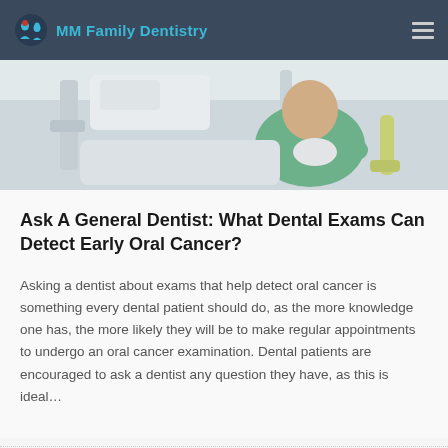MM Family Dentistry
[Figure (photo): A dental office scene showing a patient in a dental chair, with a dental professional in a green top, surrounded by dental equipment in white.]
Ask A General Dentist: What Dental Exams Can Detect Early Oral Cancer?
Asking a dentist about exams that help detect oral cancer is something every dental patient should do, as the more knowledge one has, the more likely they will be to make regular appointments to undergo an oral cancer examination. Dental patients are encouraged to ask a dentist any question they have, as this is ideal...